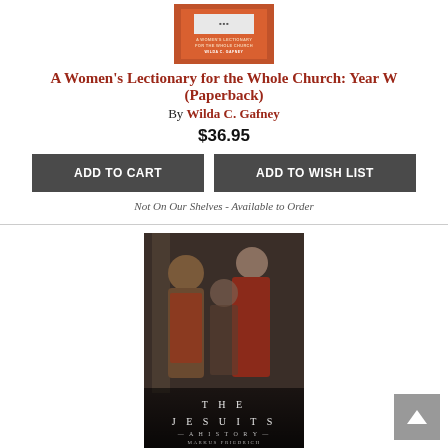[Figure (illustration): Book cover for A Women's Lectionary for the Whole Church: Year W by Wilda C. Gafney, orange/red cover]
A Women's Lectionary for the Whole Church: Year W (Paperback)
By Wilda C. Gafney
$36.95
ADD TO CART  ADD TO WISH LIST
Not On Our Shelves - Available to Order
[Figure (illustration): Book cover for The Jesuits: A History by Markus Friedrich, showing a painting of robed figures, dark tones]
The Jesuits: A History (Hardcover)
By Markus Friedrich, John Noël Dillon (Translator)
$39.95